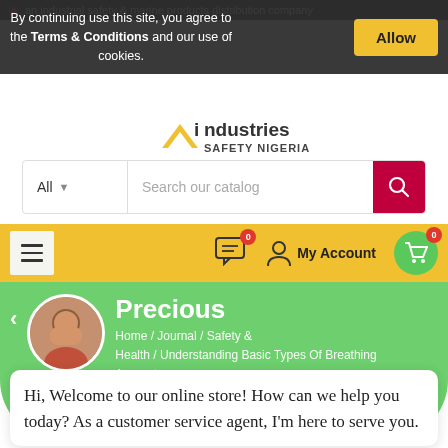an industrial safety & marine products distribution company
By continuing use this site, you agree to the Terms & Conditions and our use of cookies.
Allow
[Figure (logo): Industries Safety Nigeria logo with house/chevron icon]
All  Search our catalog
0  My Account  0
Precious
Home / Journal / Safety & Health / Understanding Basic Types Of Breathing Apparatus
Precious
BLOG MENU
Hi, Welcome to our online store! How can we help you today? As a customer service agent, I'm here to serve you.